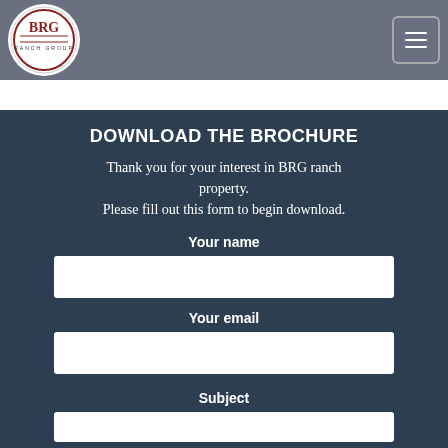BRG Ranch Group navigation header with logo and hamburger menu
DOWNLOAD THE BROCHURE
Thank you for your interest in BRG ranch property.
Please fill out this form to begin download.
Your name
Your email
Subject